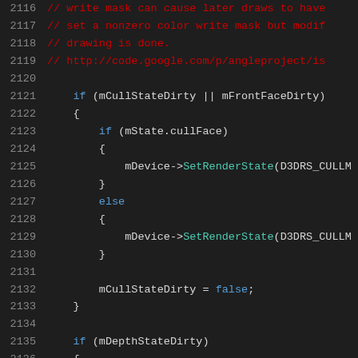[Figure (screenshot): Source code listing showing C++ code with line numbers 2116-2137. Dark background IDE view with colored syntax highlighting. Comments in red, keywords in blue, function names in teal.]